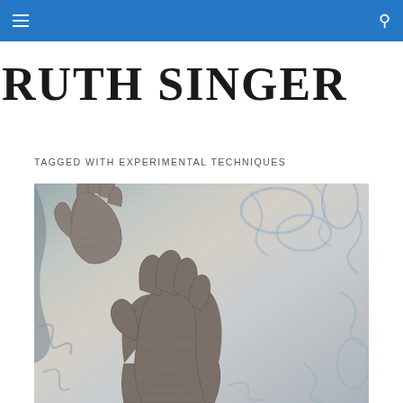≡  🔍
RUTH SINGER
TAGGED WITH EXPERIMENTAL TECHNIQUES
[Figure (photo): Two knitted grey/brown gloves laid on a light felted or batik fabric with swirling patterns in blue, beige and grey tones]